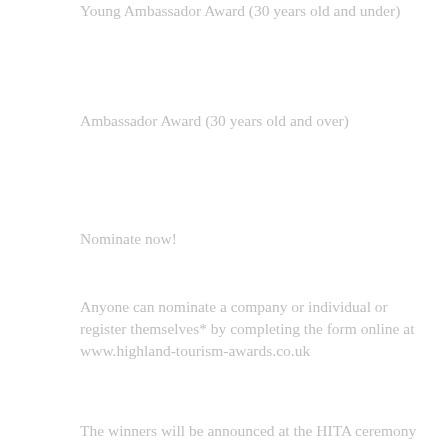Young Ambassador Award (30 years old and under)
Ambassador Award (30 years old and over)
Nominate now!
Anyone can nominate a company or individual or register themselves* by completing the form online at www.highland-tourism-awards.co.uk
The winners will be announced at the HITA ceremony and gala